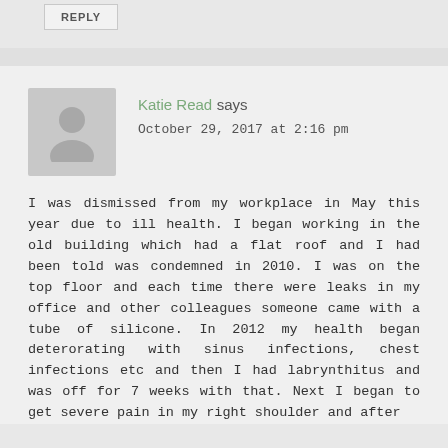REPLY
Katie Read says
October 29, 2017 at 2:16 pm
I was dismissed from my workplace in May this year due to ill health. I began working in the old building which had a flat roof and I had been told was condemned in 2010. I was on the top floor and each time there were leaks in my office and other colleagues someone came with a tube of silicone. In 2012 my health began deterorating with sinus infections, chest infections etc and then I had labrynthitus and was off for 7 weeks with that. Next I began to get severe pain in my right shoulder and after